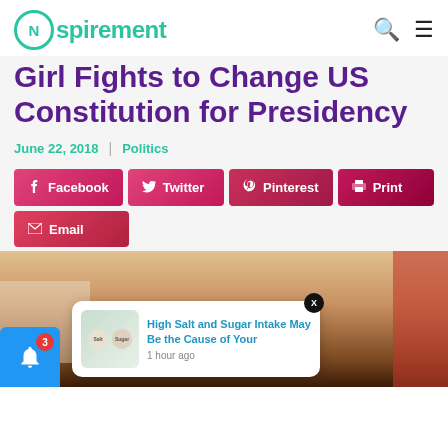Nspirement
Girl Fights to Change US Constitution for Presidency
June 22, 2018 | Politics
Facebook Twitter Pinterest Print Email
[Figure (photo): Photo of a young girl smiling, with a notification popup overlay showing 'High Salt and Sugar Intake May Be the Cause of Your' from 1 hour ago, and a blue notification bell with badge number 3 in the bottom left corner.]